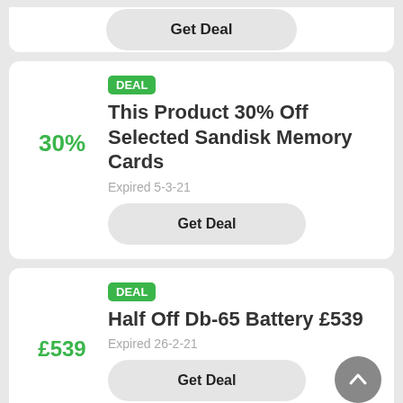CANONWRIS (partial, top of page)
Get Deal (partial card button)
DEAL
This Product 30% Off Selected Sandisk Memory Cards
30%
Expired 5-3-21
Get Deal
DEAL
Half Off Db-65 Battery £539
£539
Expired 26-2-21
Get Deal